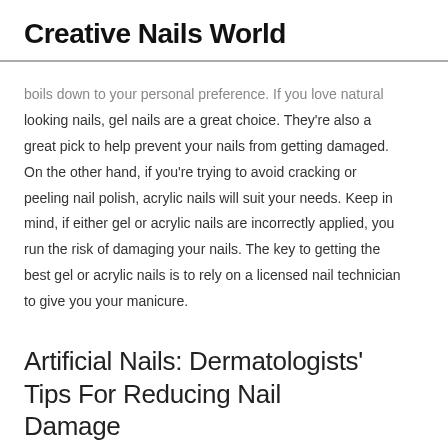Creative Nails World
boils down to your personal preference. If you love natural looking nails, gel nails are a great choice. They're also a great pick to help prevent your nails from getting damaged. On the other hand, if you're trying to avoid cracking or peeling nail polish, acrylic nails will suit your needs. Keep in mind, if either gel or acrylic nails are incorrectly applied, you run the risk of damaging your nails. The key to getting the best gel or acrylic nails is to rely on a licensed nail technician to give you your manicure.
Artificial Nails: Dermatologists' Tips For Reducing Nail Damage
Artificial nails can lengthen short nails, making your fingers look long and slender. They can also be hard on your nails.